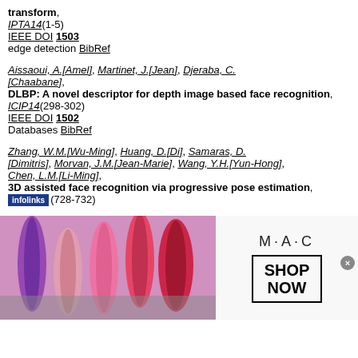transform, IPTA14(1-5) IEEE DOI 1503 edge detection BibRef
Aissaoui, A.[Amel], Martinet, J.[Jean], Djeraba, C.[Chaabane], DLBP: A novel descriptor for depth image based face recognition, ICIP14(298-302) IEEE DOI 1502 Databases BibRef
Zhang, W.M.[Wu-Ming], Huang, D.[Di], Samaras, D.[Dimitris], Morvan, J.M.[Jean-Marie], Wang, Y.H.[Yun-Hong], Chen, L.M.[Li-Ming], 3D assisted face recognition via progressive pose estimation, ICIP14(728-732)
[Figure (photo): Advertisement banner for MAC cosmetics showing lipsticks and a SHOP NOW button]